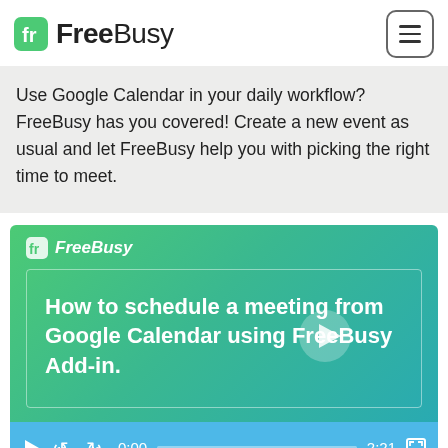FreeBusy
Use Google Calendar in your daily workflow? FreeBusy has you covered! Create a new event as usual and let FreeBusy help you with picking the right time to meet.
[Figure (screenshot): Video player screenshot showing FreeBusy branding on a green-to-teal gradient background. Title reads: 'How to schedule a meeting from Google Calendar using FreeBusy Add-in.' with a play button overlay. Video controls show 0:00 elapsed and 2:21 total duration.]